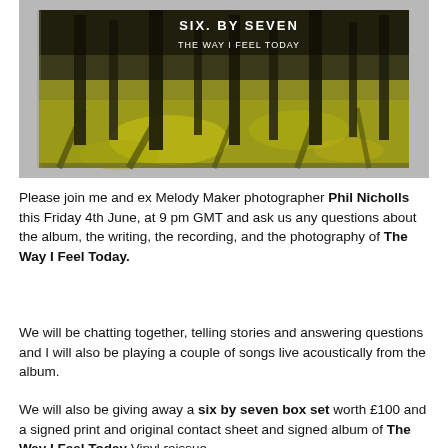[Figure (photo): Album cover of Six By Seven - The Way I Feel Today, showing a forest path with yellowy-green light filtering through trees, displayed as a physical CD/album propped against a grey background. Text on cover reads 'SIX. BY SEVEN' and 'THE WAY I FEEL TODAY'.]
Please join me and ex Melody Maker photographer Phil Nicholls this Friday 4th June, at 9 pm GMT and ask us any questions about the album, the writing, the recording, and the photography of The Way I Feel Today.
We will be chatting together, telling stories and answering questions and I will also be playing a couple of songs live acoustically from the album.
We will also be giving away a six by seven box set worth £100 and a signed print and original contact sheet and signed album of The Way I Feel Today Vinyl reissue.